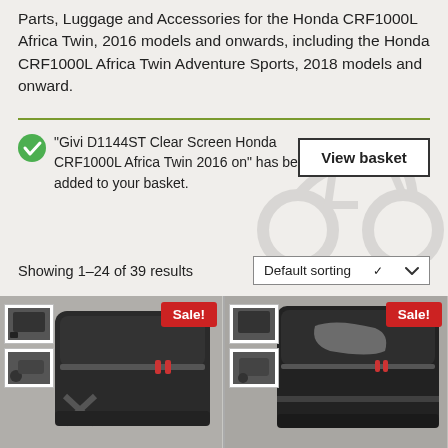Parts, Luggage and Accessories for the Honda CRF1000L Africa Twin, 2016 models and onwards, including the Honda CRF1000L Africa Twin Adventure Sports, 2018 models and onward.
"Givi D1144ST Clear Screen Honda CRF1000L Africa Twin 2016 on" has been added to your basket.
View basket
Showing 1–24 of 39 results
Default sorting
Sale!
[Figure (photo): Black motorcycle tank bag with red zipper accents and X logo, shown with thumbnail images on left]
Sale!
[Figure (photo): Black motorcycle tank bag with silver logo on top, shown with thumbnail images on left]